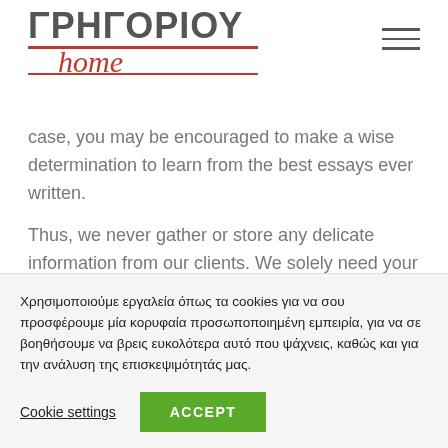ΓΡΗΓΟΡΙΟΥ home
case, you may be encouraged to make a wise determination to learn from the best essays ever written.
Thus, we never gather or store any delicate information from our clients. We solely need your email for communication to send you information related to your order and inform you about the
Χρησιμοποιούμε εργαλεία όπως τα cookies για να σου προσφέρουμε μία κορυφαία προσωποποιημένη εμπειρία, για να σε βοηθήσουμε να βρεις ευκολότερα αυτό που ψάχνεις, καθώς και για την ανάλυση της επισκεψιμότητάς μας.
Cookie settings   ACCEPT